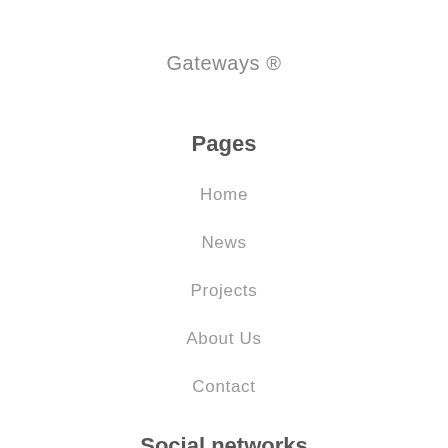Gateways ®
Pages
Home
News
Projects
About Us
Contact
Social networks
Linkedin
Instagram